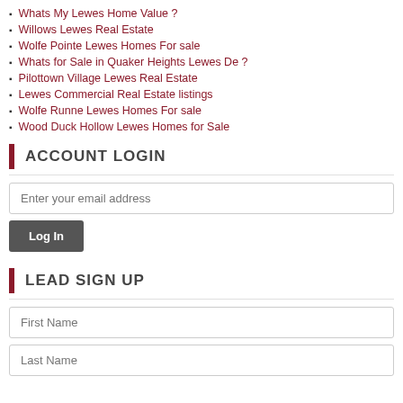Whats My Lewes Home Value ?
Willows Lewes Real Estate
Wolfe Pointe Lewes Homes For sale
Whats for Sale in Quaker Heights Lewes De ?
Pilottown Village Lewes Real Estate
Lewes Commercial Real Estate listings
Wolfe Runne Lewes Homes For sale
Wood Duck Hollow Lewes Homes for Sale
ACCOUNT LOGIN
Enter your email address
Log In
LEAD SIGN UP
First Name
Last Name